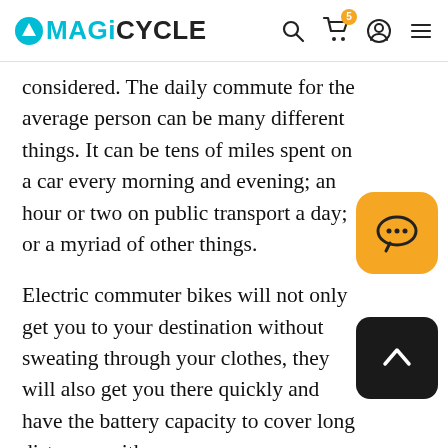MAGICYCLE
considered. The daily commute for the average person can be many different things. It can be tens of miles spent on a car every morning and evening; an hour or two on public transport a day; or a myriad of other things.
Electric commuter bikes will not only get you to your destination without sweating through your clothes, they will also get you there quickly and have the battery capacity to cover long distances with ease.